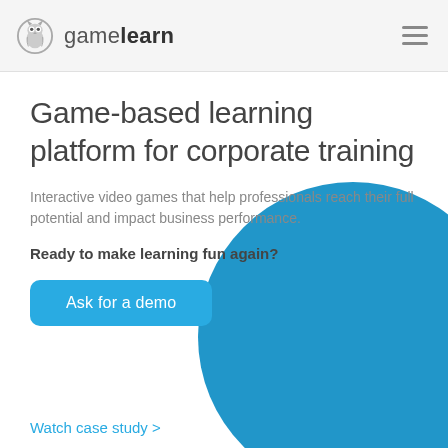gamelearn
Game-based learning platform for corporate training
Interactive video games that help professionals reach their full potential and impact business performance.
Ready to make learning fun again?
Ask for a demo
[Figure (illustration): Large blue circle decorative element in the bottom-right area of the page]
Watch case study >